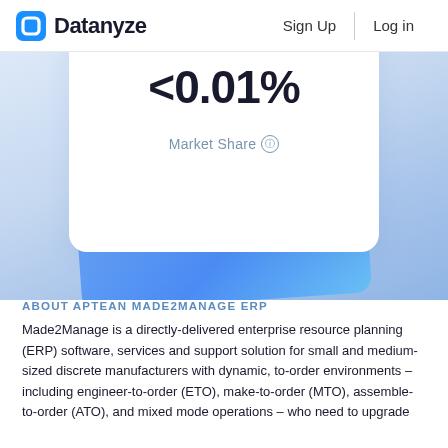Datanyze  Sign Up  Log in
[Figure (infographic): A white rounded card showing '<0.01%' in large bold text with 'Market Share' label below it, overlapping a blue gradient card behind it, on a light blue gradient background.]
ABOUT APTEAN MADE2MANAGE ERP
Made2Manage is a directly-delivered enterprise resource planning (ERP) software, services and support solution for small and medium-sized discrete manufacturers with dynamic, to-order environments – including engineer-to-order (ETO), make-to-order (MTO), assemble-to-order (ATO), and mixed mode operations – who need to upgrade